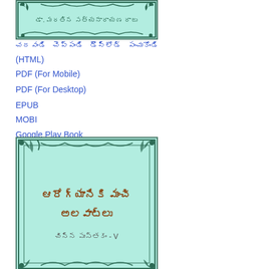[Figure (illustration): Book cover with teal/mint background and decorative dark green floral/scroll border design with Telugu text]
చదవండి చెప్పండి (HTML)
PDF (For Mobile)
PDF (For Desktop)
EPUB
MOBI
Google Play Book
[Figure (illustration): Book cover with mint/teal background and decorative dark green floral border. Telugu title text: ఆరోగ్యానికి మంచి అలవాట్లు, subtitle: చిన్న పుస్తకం - V]